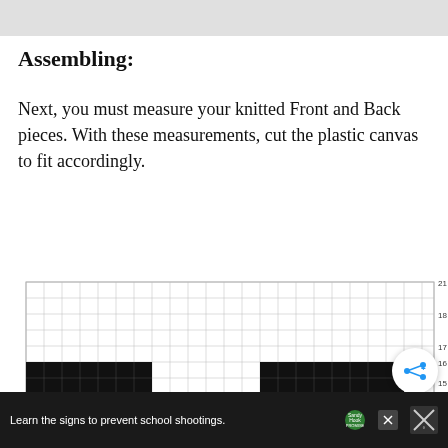Assembling:
Next, you must measure your knitted Front and Back pieces. With these measurements, cut the plastic canvas to fit accordingly.
[Figure (other): Grid pattern diagram showing a plastic canvas grid with two black rectangular sections forming an H or U shape pattern, representing a knitting pattern chart. Grid has numbered rows on the right side.]
Learn the signs to prevent school shootings.